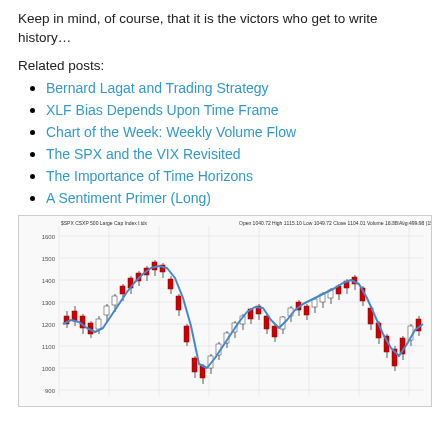Keep in mind, of course, that it is the victors who get to write history…
Related posts:
Bernard Lagat and Trading Strategy
XLF Bias Depends Upon Time Frame
Chart of the Week: Weekly Volume Flow
The SPX and the VIX Revisited
The Importance of Time Horizons
A Sentiment Primer (Long)
[Figure (continuous-plot): SPX S&P 500 Large Cap Index monthly candlestick chart with a blue moving average curve overlaid, showing price history from approximately 2000 to 2012 with major peaks around 1500 and troughs around 750-800. Y-axis ranges from approximately 600 to 1600.]